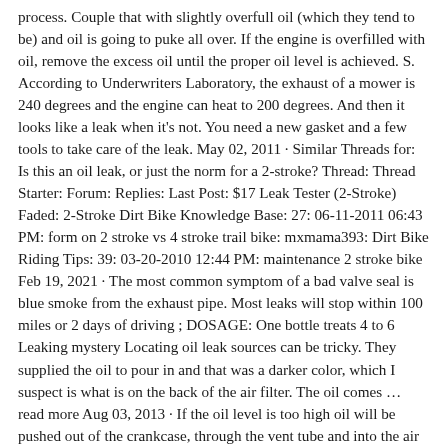process. Couple that with slightly overfull oil (which they tend to be) and oil is going to puke all over. If the engine is overfilled with oil, remove the excess oil until the proper oil level is achieved. S. According to Underwriters Laboratory, the exhaust of a mower is 240 degrees and the engine can heat to 200 degrees. And then it looks like a leak when it's not. You need a new gasket and a few tools to take care of the leak. May 02, 2011 · Similar Threads for: Is this an oil leak, or just the norm for a 2-stroke? Thread: Thread Starter: Forum: Replies: Last Post: $17 Leak Tester (2-Stroke) Faded: 2-Stroke Dirt Bike Knowledge Base: 27: 06-11-2011 06:43 PM: form on 2 stroke vs 4 stroke trail bike: mxmama393: Dirt Bike Riding Tips: 39: 03-20-2010 12:44 PM: maintenance 2 stroke bike Feb 19, 2021 · The most common symptom of a bad valve seal is blue smoke from the exhaust pipe. Most leaks will stop within 100 miles or 2 days of driving ; DOSAGE: One bottle treats 4 to 6 Leaking mystery Locating oil leak sources can be tricky. They supplied the oil to pour in and that was a darker color, which I suspect is what is on the back of the air filter. The oil comes … read more Aug 03, 2013 · If the oil level is too high oil will be pushed out of the crankcase, through the vent tube and into the air filter area. Nov 29, 2019 · Black Smoke – Lawn Mower Smoking and Leaking Oil from Exhaust Reasons and Solutions to Avoid Lawn Mower Smoking and Leaking Oil from Exhaust. You must also check the oil level. Jul 18, 2017 · Check the oil level. I called a dealer and he wouldn't really pinpoint what the problem was but he said something about the carburetor. The key is to check your